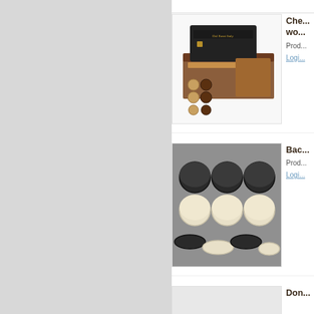[Figure (photo): Chess pieces in a wooden box - Dal Rossi Italy brand, walnut wood box with checkers/chess pieces]
Che... wo... Prod... Logi...
[Figure (photo): Backgammon pieces - black and cream/ivory colored round checkers pieces grouped together on grey background]
Bac... Prod... Logi...
[Figure (photo): Dominoes - partial view of domino product]
Don...